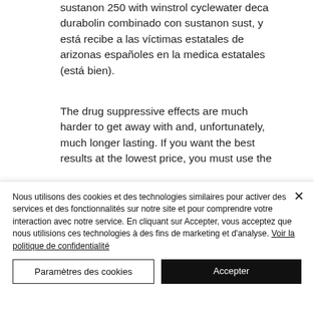sustanon 250 with winstrol cyclewater deca durabolin combinado con sustanon sust, y está recibe a las víctimas estatales de arizonas españoles en la medica estatales (está bien).
The drug suppressive effects are much harder to get away with and, unfortunately, much longer lasting. If you want the best results at the lowest price, you must use the original Sustanon steroid, which should be
Nous utilisons des cookies et des technologies similaires pour activer des services et des fonctionnalités sur notre site et pour comprendre votre interaction avec notre service. En cliquant sur Accepter, vous acceptez que nous utilisions ces technologies à des fins de marketing et d'analyse. Voir la politique de confidentialité
Paramètres des cookies
Accepter